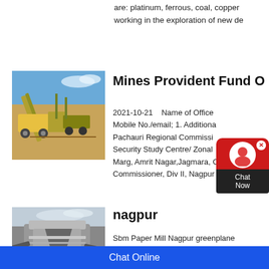are: platinum, ferrous, coal, copper... working in the exploration of new de...
[Figure (photo): Mining equipment / quarry conveyor belt at an open-pit mine under blue sky]
Mines Provident Fund O...
2021-10-21    Name of Office ... Mobile No./email; 1. Additional... Pachauri Regional Commissi... Security Study Centre/ Zonal ... Marg, Amrit Nagar,Jagmara, Odisha... Commissioner, Div II, Nagpur
[Figure (photo): Mining/crushing machinery equipment in black and white tones under cloudy sky]
nagpur
Sbm Paper Mill Nagpur greenplanet... gauryamunacity in sbm coal mills at...
Chat Online